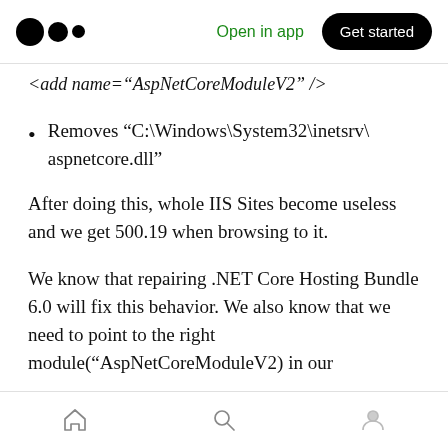Open in app | Get started
<add name="AspNetCoreModuleV2" />
Removes “C:\Windows\System32\inetsrv\aspnetcore.dll”
After doing this, whole IIS Sites become useless and we get 500.19 when browsing to it.
We know that repairing .NET Core Hosting Bundle 6.0 will fix this behavior. We also know that we need to point to the right module(“AspNetCoreModuleV2) in our
Home | Search | Profile